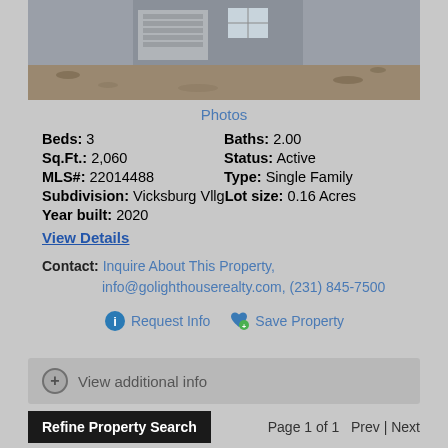[Figure (photo): Exterior photo of a new construction single family home with gray siding, showing the garage area and bare landscaping in front.]
Photos
Beds: 3   Baths: 2.00
Sq.Ft.: 2,060   Status: Active
MLS#: 22014488   Type: Single Family
Subdivision: Vicksburg Vllg  Lot size: 0.16 Acres
Year built: 2020
View Details
Contact: Inquire About This Property, info@golighthouserealty.com, (231) 845-7500
Request Info   Save Property
View additional info
Refine Property Search   Page 1 of 1   Prev | Next